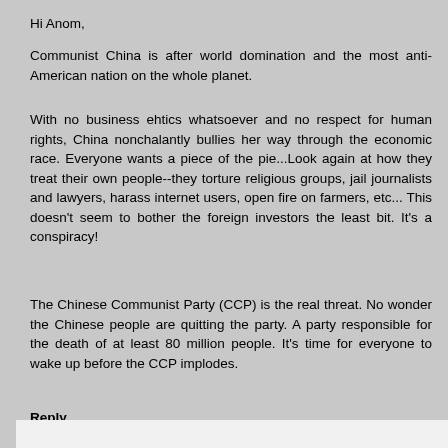Hi Anom,
Communist China is after world domination and the most anti-American nation on the whole planet.
With no business ehtics whatsoever and no respect for human rights, China nonchalantly bullies her way through the economic race. Everyone wants a piece of the pie...Look again at how they treat their own people--they torture religious groups, jail journalists and lawyers, harass internet users, open fire on farmers, etc... This doesn't seem to bother the foreign investors the least bit. It's a conspiracy!
The Chinese Communist Party (CCP) is the real threat. No wonder the Chinese people are quitting the party. A party responsible for the death of at least 80 million people. It's time for everyone to wake up before the CCP implodes.
Reply